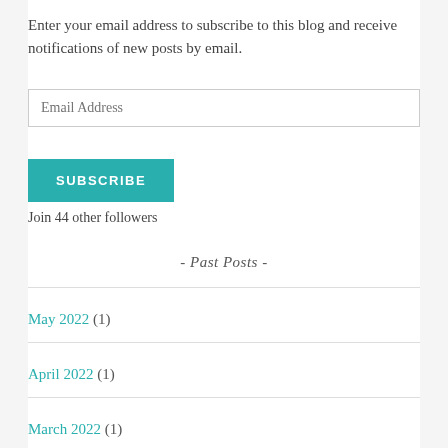Enter your email address to subscribe to this blog and receive notifications of new posts by email.
Email Address
SUBSCRIBE
Join 44 other followers
- Past Posts -
May 2022 (1)
April 2022 (1)
March 2022 (1)
February 2022 (1)